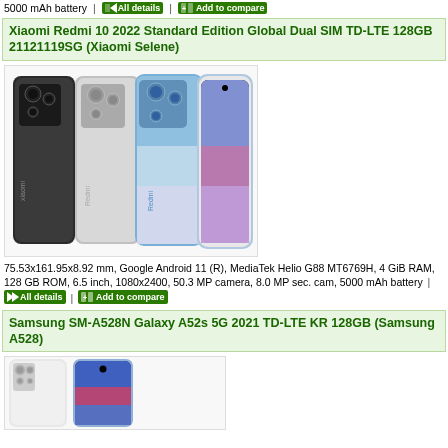5000 mAh battery | All details | Add to compare
Xiaomi Redmi 10 2022 Standard Edition Global Dual SIM TD-LTE 128GB 21121119SG (Xiaomi Selene)
[Figure (photo): Xiaomi Redmi 10 2022 smartphone shown from back in three colors (black, silver, blue) and front view showing the screen with colorful wallpaper]
75.53x161.95x8.92 mm, Google Android 11 (R), MediaTek Helio G88 MT6769H, 4 GiB RAM, 128 GB ROM, 6.5 inch, 1080x2400, 50.3 MP camera, 8.0 MP sec. cam, 5000 mAh battery | All details | Add to compare
Samsung SM-A528N Galaxy A52s 5G 2021 TD-LTE KR 128GB (Samsung A528)
[Figure (photo): Samsung SM-A528N Galaxy A52s 5G shown from back (white with quad camera) and front (showing screen with colorful wallpaper)]